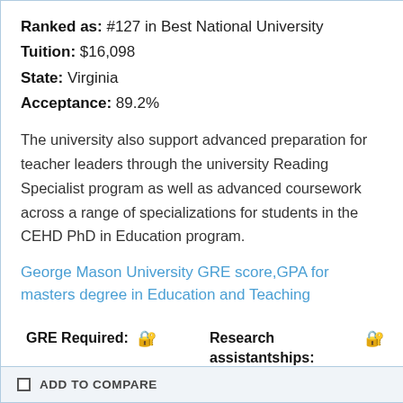Ranked as: #127 in Best National University
Tuition: $16,098
State: Virginia
Acceptance: 89.2%
The university also support advanced preparation for teacher leaders through the university Reading Specialist program as well as advanced coursework across a range of specializations for students in the CEHD PhD in Education program.
George Mason University GRE score,GPA for masters degree in Education and Teaching
GRE Required: 🔒   Research assistantships: 🔒   Teaching assistantships: 🔒   Financial Aid: 🔒
ADD TO COMPARE